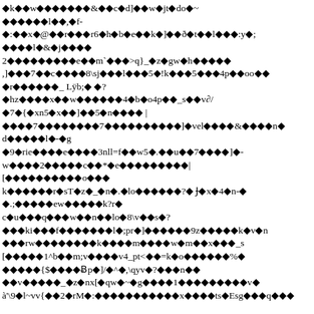♦k♦♦w♦♦♦♦♦♦♦&♦♦c♦d]♦♦w♦jt♦do♦~♦♦♦♦♦l♦♦,♦f-♦:♦♦x♦@♦♦r♦♦♦r6♦h♦b♦e♦♦k♦]♦♦ð♦t♦♦l♦♦♦:y♦;♦♦♦♦♦l♦&♦j♦♦♦♦
2♦♦♦♦♦♦♦♦♦e♦♦m`♦♦♦>q}_♦z♦gw♦h♦♦♦♦♦
,]♦♦♦7♦♦c♦♦♦♦8\sj♦♦♦l♦♦♦5♦!k♦♦♦5♦♦♦4p♦♦oo♦♦♦♦r♦♦♦♦♦♦_ Lÿb;♦ ♦?
♦hz♦♦♦♦x♦♦w♦♦♦♦♦♦4♦b♦o4p♦♦_s♦♦v∂/
♦7♦{♦xn5♦x♦♦]♦♦5♦n♦♦♦♦ |
♦♦♦♦7♦♦♦♦♦♦♦♦7♦♦♦♦♦♦♦♦♦♦]♦vel♦♦♦♦&♦♦♦♦n♦d♦♦♦♦♦l♦-♦g
♦9♦rie♦♦♦♦e♦♦♦♦3nll=f♦♦w5♦.♦♦u♦♦7♦♦♦♦]♦-w♦♦♦♦2♦♦♦♦♦c♦♦*♦e♦♦♦♦♦♦♦♦♦|
[♦♦♦♦♦♦♦♦♦♦o♦♦♦
k♦♦♦♦♦♦r♦sT♦z♦_♦n♦.♦lo♦♦♦♦♦♦?♦ Ɉ♦x♦4♦n-♦♦.;♦♦♦♦♦ew♦♦♦♦♦k?r♦
c♦u♦♦♦q♦♦♦w♦♦n♦♦lo♦8\v♦♦s♦?
♦♦♦ki♦♦♦f♦♦♦♦♦♦♦l♦;pr♦]♦♦♦♦♦♦9z♦♦♦♦♦k♦v♦n♦♦♦rw♦♦♦♦♦♦♦♦k♦♦♦♦m♦♦♦♦w♦m♦♦x♦♦♦_s
[♦♦♦♦♦1^b♦♦m;v♦♦♦♦v4_pt<♦♦=k♦o♦♦♦♦♦♦%♦♦♦♦♦♦♦{$♦♦♦♦Ɓp♦]/♦^♦,\qyv♦?♦♦♦n♦♦
♦♦v♦♦♦♦♦_♦z♦nx[♦qw♦~♦g♦♦♦♦1♦♦♦♦♦♦♦♦♦v♦
à'\9♦l~vv{♦♦2♦rM♦:♦♦♦♦♦♦♦♦♦♦♦x♦♦♦♦ts♦Esg♦♦♦q♦♦♦